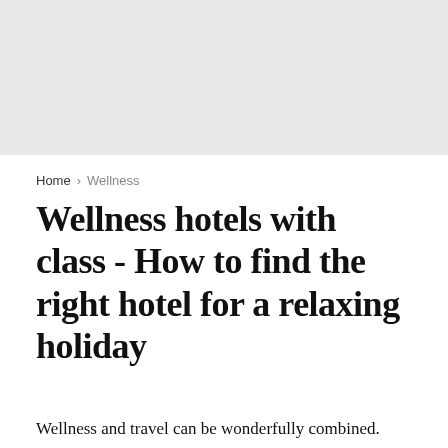[Figure (photo): Gray placeholder image area at the top of the page, representing a header image for a wellness hotel article.]
Home > Wellness
Wellness hotels with class - How to find the right hotel for a relaxing holiday
Wellness and travel can be wonderfully combined. Escape the stress, come to other thoughts, be pampered and recharge your batteries - Wellness has been popular with young and old for